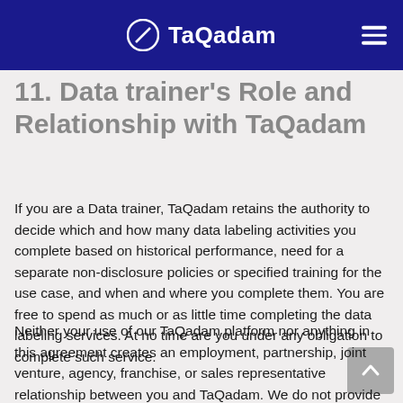TaQadam
11. Data trainer's Role and Relationship with TaQadam
If you are a Data trainer, TaQadam retains the authority to decide which and how many data labeling activities you complete based on historical performance, need for a separate non-disclosure policies or specified training for the use case, and when and where you complete them. You are free to spend as much or as little time completing the data labeling services. At no time are you under any obligation to complete such service.
Neither your use of our TaQadam platform nor anything in this agreement creates an employment, partnership, joint venture, agency, franchise, or sales representative relationship between you and TaQadam. We do not provide you with any equipment or tools to complete data labeling services. We do not provide you any benefits, workers' compensation, or insurance coverage. We are not responsible for any expenses you